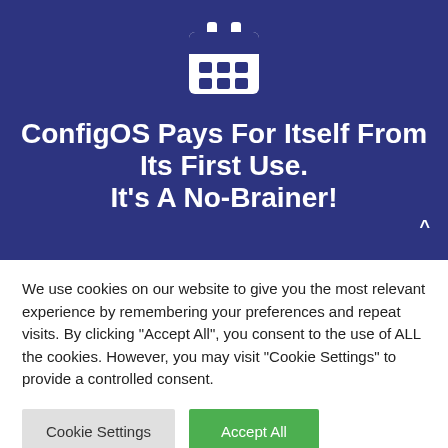[Figure (illustration): White calendar icon on dark navy/blue background]
ConfigOS Pays For Itself From Its First Use. It's A No-Brainer!
We use cookies on our website to give you the most relevant experience by remembering your preferences and repeat visits. By clicking "Accept All", you consent to the use of ALL the cookies. However, you may visit "Cookie Settings" to provide a controlled consent.
Cookie Settings | Accept All